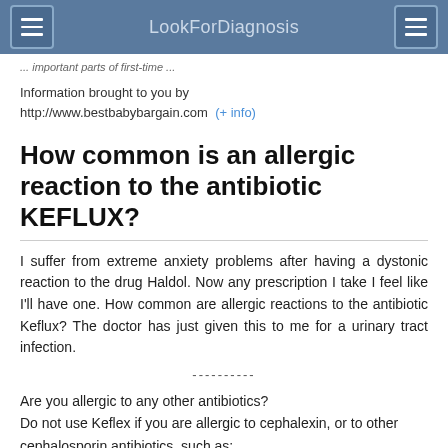LookForDiagnosis
... important part of first-time ...
Information brought to you by http://www.bestbabybargain.com  (+ info)
How common is an allergic reaction to the antibiotic KEFLUX?
I suffer from extreme anxiety problems after having a dystonic reaction to the drug Haldol. Now any prescription I take I feel like I'll have one. How common are allergic reactions to the antibiotic Keflux? The doctor has just given this to me for a urinary tract infection.
----------
Are you allergic to any other antibiotics?
Do not use Keflex if you are allergic to cephalexin, or to other cephalosporin antibiotics, such as:
• cefaclor (Ceclor) ...